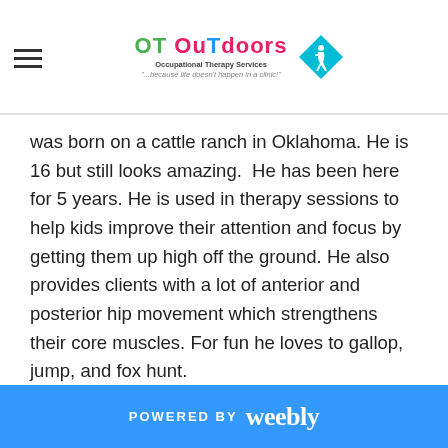OT OuTdoors Occupational Therapy Services "...because life doesn't happen in a clinic!"
was born on a cattle ranch in Oklahoma. He is 16 but still looks amazing.  He has been here for 5 years. He is used in therapy sessions to help kids improve their attention and focus by getting them up high off the ground. He also provides clients with a lot of anterior and posterior hip movement which strengthens their core muscles. For fun he loves to gallop, jump, and fox hunt.
POWERED BY weebly